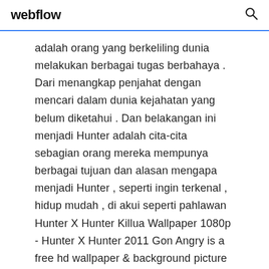webflow
adalah orang yang berkeliling dunia melakukan berbagai tugas berbahaya . Dari menangkap penjahat dengan mencari dalam dunia kejahatan yang belum diketahui . Dan belakangan ini menjadi Hunter adalah cita-cita sebagian orang mereka mempunya berbagai tujuan dan alasan mengapa menjadi Hunter , seperti ingin terkenal , hidup mudah , di akui seperti pahlawan Hunter X Hunter Killua Wallpaper 1080p - Hunter X Hunter 2011 Gon Angry is a free hd wallpaper & background picture for desktop or mobile device. Its resolution is 1367*768 and it is classified to hd 1080p free download for mobile , hd wallpapers 1080p . 1080p . Explore more free hd